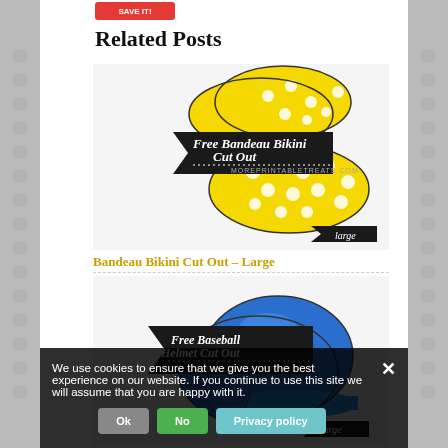[Figure (screenshot): Red button at top of page (partially visible)]
Related Posts
[Figure (illustration): Free Bandeau Bikini Cut Out promotional image with yellow polka dot bikini, black banner, text 'Free Bandeau Bikini Cut Out', moreprintabletreats.com, large tag]
Bandeau Bikini Cut Out – Large
[Figure (illustration): Free Baseball Helmet Cut Out promotional image with blue helmet illustration, black banner, text 'Free Baseball Helmet Cut Out', moreprintabletreats.com, large tag]
Baseball Helmet Cut Out – Large
[Figure (illustration): Free Bee Cut Out promotional image with bee illustration, black banner, text 'Free Bee Cut Out', moreprintabletreats.com]
We use cookies to ensure that we give you the best experience on our website. If you continue to use this site we will assume that you are happy with it.